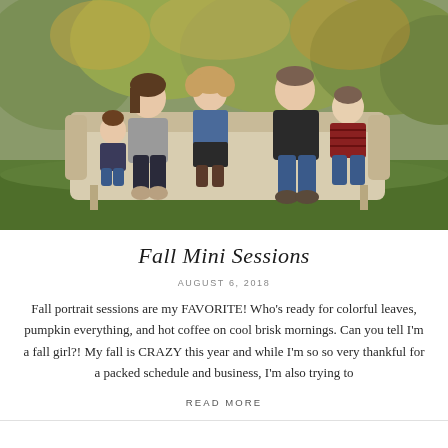[Figure (photo): A family of five (mother, father, two young boys, one older girl) sitting on a vintage cream-colored settee outdoors on green grass with autumn foliage trees in the background. The mother is on the left wearing a gray top and dark pants with taupe boots; the father is in the center-back wearing a dark jacket; the girl in the middle wears a denim jacket and patterned skirt; one toddler boy in a navy top sits on the far left; another boy in a red striped shirt sits on the right.]
Fall Mini Sessions
AUGUST 6, 2018
Fall portrait sessions are my FAVORITE! Who's ready for colorful leaves, pumpkin everything, and hot coffee on cool brisk mornings. Can you tell I'm a fall girl?! My fall is CRAZY this year and while I'm so so very thankful for a packed schedule and business, I'm also trying to
READ MORE